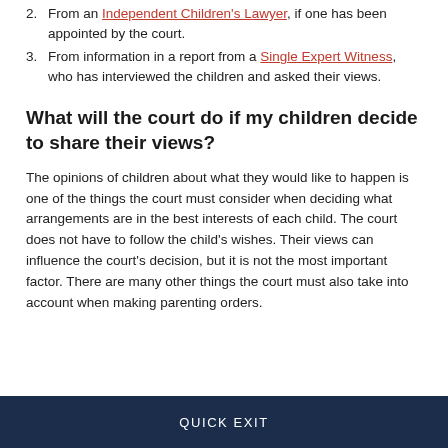2. From an Independent Children's Lawyer, if one has been appointed by the court.
3. From information in a report from a Single Expert Witness, who has interviewed the children and asked their views.
What will the court do if my children decide to share their views?
The opinions of children about what they would like to happen is one of the things the court must consider when deciding what arrangements are in the best interests of each child. The court does not have to follow the child's wishes. Their views can influence the court's decision, but it is not the most important factor. There are many other things the court must also take into account when making parenting orders.
QUICK EXIT